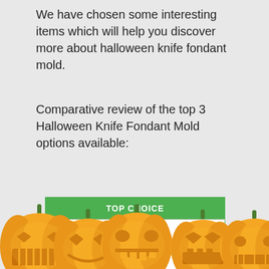We have chosen some interesting items which will help you discover more about halloween knife fondant mold.
Comparative review of the top 3 Halloween Knife Fondant Mold options available:
| TOP CHOICE |
| --- |
| Cataliza |
|  |
[Figure (illustration): Five orange jack-o-lantern pumpkins with carved faces along the bottom of the page]